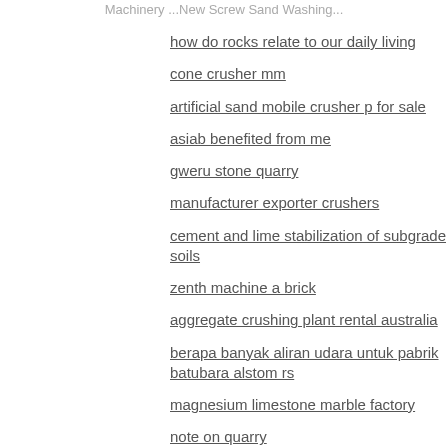Machinery ...New Screw Sand Washing...
how do rocks relate to our daily living
cone crusher mm
artificial sand mobile crusher p for sale
asiab benefited from me
gweru stone quarry
manufacturer exporter crushers
cement and lime stabilization of subgrade soils
zenth machine a brick
aggregate crushing plant rental australia
berapa banyak aliran udara untuk pabrik batubara alstom rs
magnesium limestone marble factory
note on quarry
mobile por le gold ore processing plant
how to mining jinsum